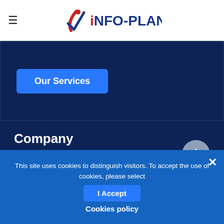INFO-PLAN (logo with hamburger menu)
[Figure (logo): INFO-PLAN logo with a stylized red and blue checkmark/person figure to the left of the text iNFO-PLAN in dark blue and red]
Our Services
Company
History
Our values
This site uses cookies to distinguish visitors. To accept the use of cookies, please select
I Accept
Cookies policy